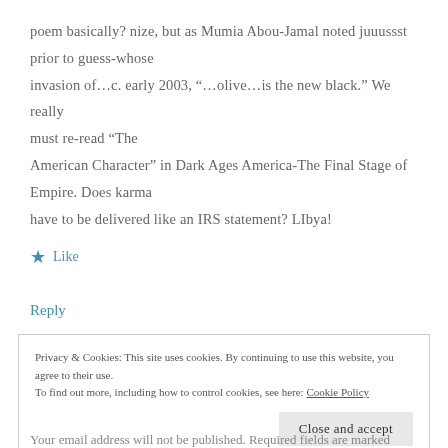poem basically? nize, but as Mumia Abou-Jamal noted juuussst prior to guess-whose invasion of…c. early 2003, “…olive…is the new black.” We really must re-read “The American Character” in Dark Ages America-The Final Stage of Empire. Does karma have to be delivered like an IRS statement? LIbya!
★ Like
Reply
Privacy & Cookies: This site uses cookies. By continuing to use this website, you agree to their use. To find out more, including how to control cookies, see here: Cookie Policy
Close and accept
Your email address will not be published. Required fields are marked